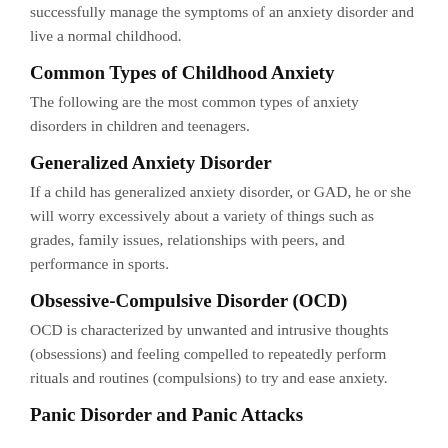successfully manage the symptoms of an anxiety disorder and live a normal childhood.
Common Types of Childhood Anxiety
The following are the most common types of anxiety disorders in children and teenagers.
Generalized Anxiety Disorder
If a child has generalized anxiety disorder, or GAD, he or she will worry excessively about a variety of things such as grades, family issues, relationships with peers, and performance in sports.
Obsessive-Compulsive Disorder (OCD)
OCD is characterized by unwanted and intrusive thoughts (obsessions) and feeling compelled to repeatedly perform rituals and routines (compulsions) to try and ease anxiety.
Panic Disorder and Panic Attacks